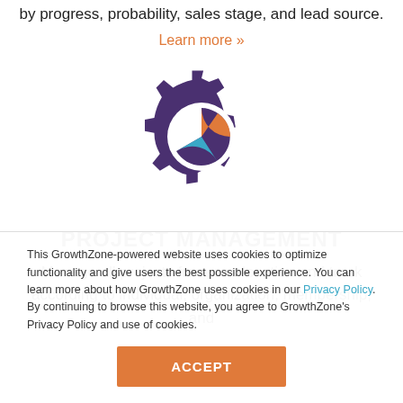by progress, probability, sales stage, and lead source.
Learn more »
[Figure (illustration): A dark purple gear icon with a pie chart inside showing orange, blue, and dark purple segments]
PROJECT MANAGEMENT
Manage all projects from one location and track according to individual, organization, membership, and
This GrowthZone-powered website uses cookies to optimize functionality and give users the best possible experience. You can learn more about how GrowthZone uses cookies in our Privacy Policy. By continuing to browse this website, you agree to GrowthZone's Privacy Policy and use of cookies.
ACCEPT